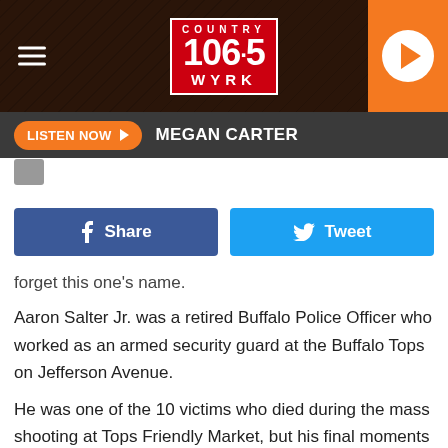Country 106.5 WYRK
[Figure (logo): Country 106.5 WYRK radio station logo on dark wood background with hamburger menu icon on left and orange play button on right]
LISTEN NOW ▶  MEGAN CARTER
forget this one's name.
Aaron Salter Jr. was a retired Buffalo Police Officer who worked as an armed security guard at the Buffalo Tops on Jefferson Avenue.
He was one of the 10 victims who died during the mass shooting at Tops Friendly Market, but his final moments showed true heroics.